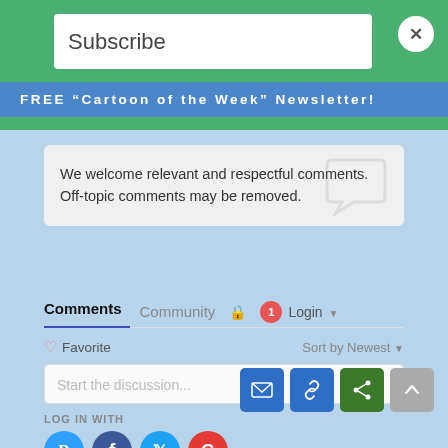Subscribe
FREE "Cartoon of the Week" Newsletter!
We welcome relevant and respectful comments. Off-topic comments may be removed.
Comments   Community   🔒   1   Login ▾
♡ Favorite    Sort by Newest ▾
Start the discussion...
LOG IN WITH
OR SIGN UP WITH DISQUS ?